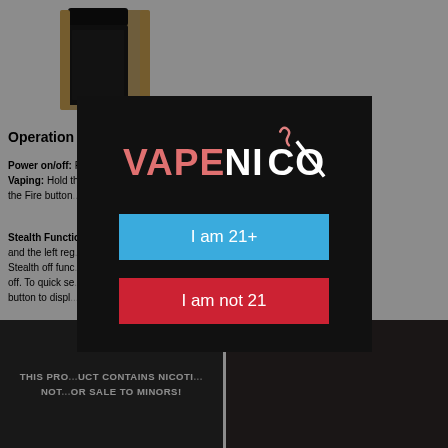[Figure (photo): Product photo of a gold and black vape device, partially visible in the top-left corner]
Operation Gu...
Power on/off: Press the fire b... device on/off. Vaping: Hold th... ce. Release the Fire button...
Stealth Functio... d the fire button and the left reg... th on and Stealth off func... e OLED screen off. To quick se... p the fire button to displa...
[Figure (screenshot): Age verification modal overlay with Vape Nico logo on black background, two buttons: 'I am 21+' (blue) and 'I am not 21' (red)]
[Figure (photo): Black warning label: THIS PRODUCT CONTAINS NICOTINE NOT FOR SALE TO MINORS!]
[Figure (photo): Second black panel, part of warning label pair]